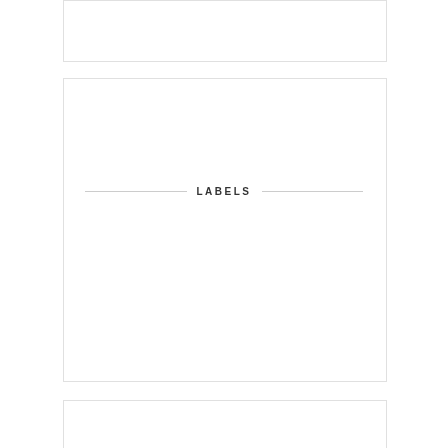LABELS
BLOG ARCHIVE
► 2020 (15)
► 2019 (2)
► 2018 (7)